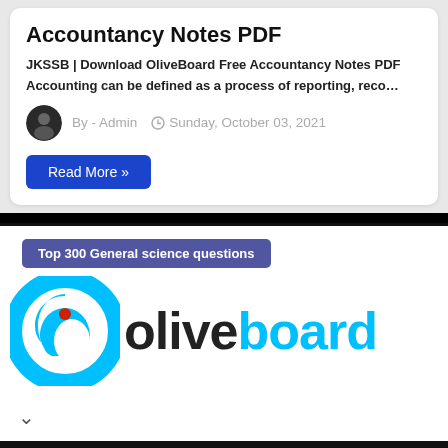Accountancy Notes PDF
JKSSB | Download OliveBoard Free Accountancy Notes PDF
Accounting can be defined as a process of reporting, reco…
By - Admin   Sunday, October 03, 2021
Read More »
[Figure (screenshot): Oliveboard banner with 'Top 300 General science questions' tag, Oliveboard logo, and partial text '300 GENERAL SCIENCE QUESTIONS']
World Aviation Fest, Amsterdam
CEOs Of Airlines, Airports, Innovative Startups & Established Blue Chip Tech Companies World Aviation Festival
Open